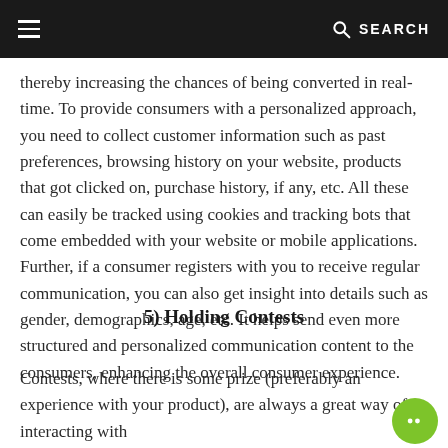≡   SEARCH
thereby increasing the chances of being converted in real-time. To provide consumers with a personalized approach, you need to collect customer information such as past preferences, browsing history on your website, products that got clicked on, purchase history, if any, etc. All these can easily be tracked using cookies and tracking bots that come embedded with your website or mobile applications. Further, if a consumer registers with you to receive regular communication, you can also get insight into details such as gender, demographics, age, etc. It helps send even more structured and personalized communication content to the consumers, enhancing the overall consumer experience.
5) Holding Contests
Contests, where there is some prize (preferably an experience with your product), are always a great way of interacting with